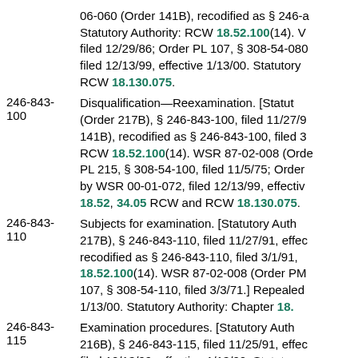06-060 (Order 141B), recodified as § 246-... Statutory Authority: RCW 18.52.100(14). ... filed 12/29/86; Order PL 107, § 308-54-080... filed 12/13/99, effective 1/13/00. Statutory: RCW 18.130.075.
246-843-100 Disqualification—Reexamination. [Statut... (Order 217B), § 246-843-100, filed 11/27/9... 141B), recodified as § 246-843-100, filed 3... RCW 18.52.100(14). WSR 87-02-008 (Orde... PL 215, § 308-54-100, filed 11/5/75; Order... by WSR 00-01-072, filed 12/13/99, effectiv... 18.52, 34.05 RCW and RCW 18.130.075.
246-843-110 Subjects for examination. [Statutory Auth... 217B), § 246-843-110, filed 11/27/91, effec... recodified as § 246-843-110, filed 3/1/91, ... 18.52.100(14). WSR 87-02-008 (Order PM... 107, § 308-54-110, filed 3/3/71.] Repealed... 1/13/00. Statutory Authority: Chapter 18.
246-843-115 Examination procedures. [Statutory Auth... 216B), § 246-843-115, filed 11/25/91, effec... filed 12/13/99, effective 1/13/00. Statutory: